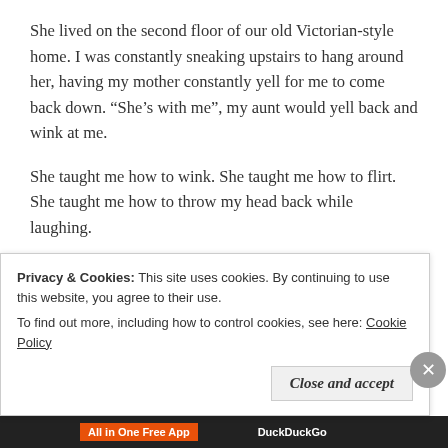She lived on the second floor of our old Victorian-style home.  I was constantly sneaking upstairs to hang around her, having my mother constantly yell for me to come back down.  “She’s with me”, my aunt would yell back and wink at me.
She taught me how to wink.  She taught me how to flirt.  She taught me how to throw my head back while laughing.
And we laughed.  We laughed quite a bit.  Dammit, I didn’t think it would be so hard to write this post.  Everything was funny, everything was good, life was good and she lived without a care in the world.
Privacy & Cookies:  This site uses cookies. By continuing to use this website, you agree to their use.
To find out more, including how to control cookies, see here: Cookie Policy